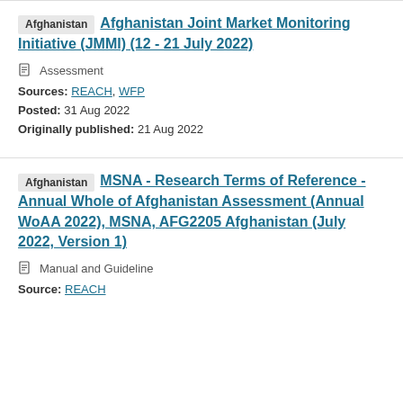Afghanistan Joint Market Monitoring Initiative (JMMI) (12 - 21 July 2022)
Assessment
Sources: REACH, WFP
Posted: 31 Aug 2022
Originally published: 21 Aug 2022
MSNA - Research Terms of Reference - Annual Whole of Afghanistan Assessment (Annual WoAA 2022), MSNA, AFG2205 Afghanistan (July 2022, Version 1)
Manual and Guideline
Source: REACH